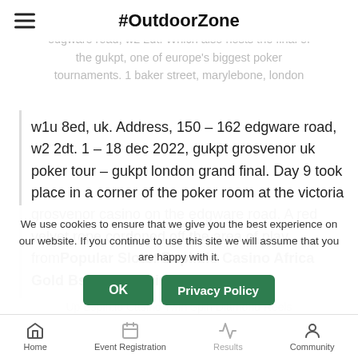#OutdoorZone
casino edgware road poker tournament. 150-162 edgware road, w2 2dt. Which also hosts the final of the gukpt, one of europe's biggest poker tournaments. 1 baker street, marylebone, london
w1u 8ed, uk. Address, 150 – 162 edgware road, w2 2dt. 1 – 18 dec 2022, gukpt grosvenor uk poker tour – gukpt london grand final. Day 9 took place in a corner of the poker room at the victoria grosvenor casino on the edgware road. A red velvet rope cordoned off the area of play fromPopular Slots: Bspin.io Casino Africa Gold Bspin.io Casino Jazz It
Up Bspin.io Casino Twin Spin Diamond Reels
We use cookies to ensure that we give you the best experience on our website. If you continue to use this site we will assume that you are happy with it.
Wolves Betchan … m Dahi Casino
Home  Event Registration  Results  Community